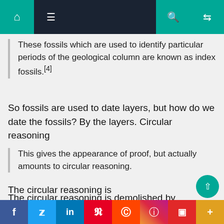Navigation bar with home, menu, search, and shuffle icons
These fossils which are used to identify particular periods of the geological column are known as index fossils.[4]
So fossils are used to date layers, but how do we date the fossils? By the layers. Circular reasoning
This gives the appearance of proof, but actually amounts to circular reasoning.
The circular reasoning is demolished by radiometric C14 dating and other dating methods.
So how do we explain the apparent succession from Cambrian to the present? It's because likely the c
Social share buttons: f, Twitter, in, Pinterest, Reddit, Instagram, Flipboard, +